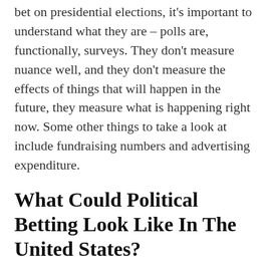bet on presidential elections, it's important to understand what they are – polls are, functionally, surveys. They don't measure nuance well, and they don't measure the effects of things that will happen in the future, they measure what is happening right now. Some other things to take a look at include fundraising numbers and advertising expenditure.
What Could Political Betting Look Like In The United States?
After watching
https://www.pcubelive.com/blog/horse-